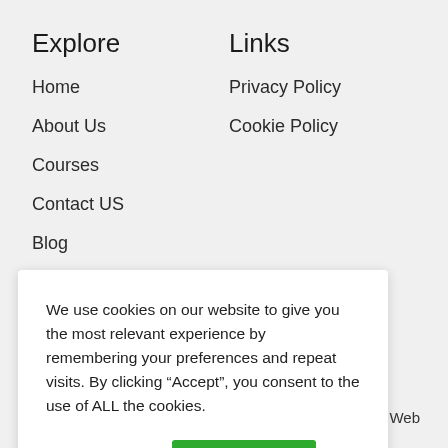Explore
Links
Home
Privacy Policy
About Us
Cookie Policy
Courses
Contact US
Blog
Contact Us
We use cookies on our website to give you the most relevant experience by remembering your preferences and repeat visits. By clicking “Accept”, you consent to the use of ALL the cookies.
Cookie settings
ACCEPT
Reserved – Web